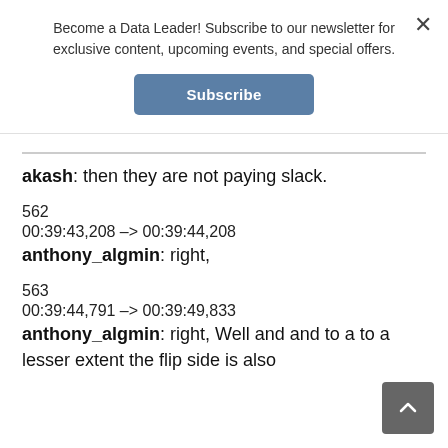Become a Data Leader! Subscribe to our newsletter for exclusive content, upcoming events, and special offers.
Subscribe
akash: then they are not paying slack.
562
00:39:43,208 –> 00:39:44,208
anthony_algmin: right,
563
00:39:44,791 –> 00:39:49,833
anthony_algmin: right, Well and and to a to a lesser extent the flip side is also